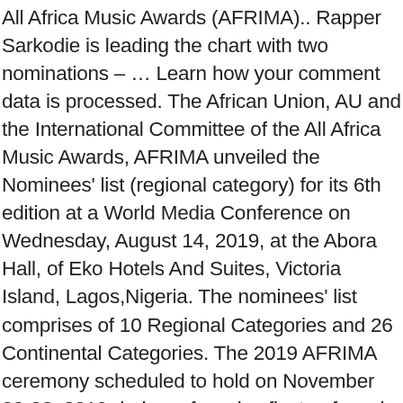All Africa Music Awards (AFRIMA).. Rapper Sarkodie is leading the chart with two nominations – … Learn how your comment data is processed. The African Union, AU and the International Committee of the All Africa Music Awards, AFRIMA unveiled the Nominees' list (regional category) for its 6th edition at a World Media Conference on Wednesday, August 14, 2019, at the Abora Hall, of Eko Hotels And Suites, Victoria Island, Lagos,Nigeria. The nominees' list comprises of 10 Regional Categories and 26 Continental Categories. The 2019 AFRIMA ceremony scheduled to hold on November 20-23, 2019 during a four-day fiesta of music, glamour, Afrocentricism and entertainment and the official awards Host City will commence with the Welcome Soiree followed by the AFRIMA Music Village, the Host City Tour, the Africa Music Business Summit, the exclusive Nominees Party and concludes with the live Awards ceremony. AFRIMMA 2020 VIRTUAL AWARDS – An Unforgettable Destination Africa Trip Mario Ezeh 2020-11-